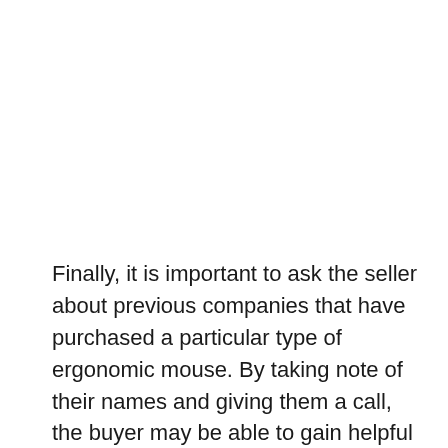Finally, it is important to ask the seller about previous companies that have purchased a particular type of ergonomic mouse. By taking note of their names and giving them a call, the buyer may be able to gain helpful information regarding the experience other companies' employees had with the